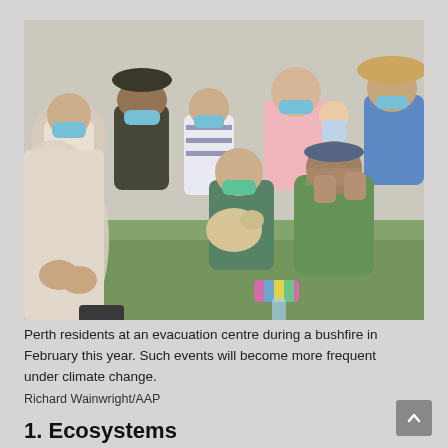[Figure (photo): A crowd of people wearing face masks sitting outdoors on grass at an evacuation centre. Some people are seated on chairs, others on the ground. One woman holds a small dog. The scene appears to be during a bushfire emergency in Perth.]
Perth residents at an evacuation centre during a bushfire in February this year. Such events will become more frequent under climate change.
Richard Wainwright/AAP
1. Ecosystems